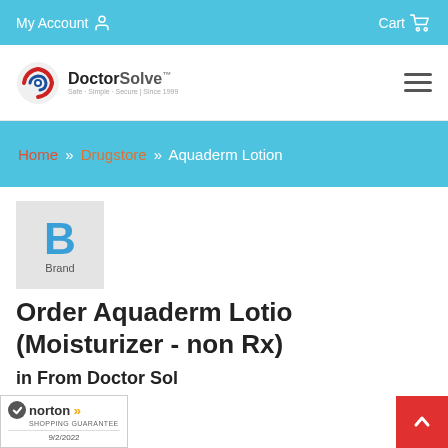My Account  Cart
[Figure (logo): DoctorSolve logo with American flag spiral icon. Text: DoctorSolve™ Safe · Simple · Secure | Since 1999]
Home » Drugstore » Aquaderm Lotion
[Figure (illustration): Brand placeholder image: large blue letter B with text 'Brand' beneath on grey background]
Order Aquaderm Lotion (Moisturizer - non Rx)